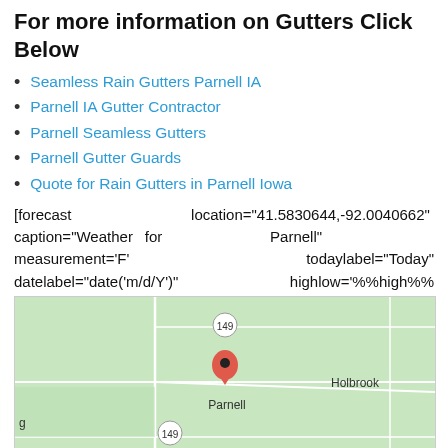For more information on Gutters Click Below
Seamless Rain Gutters Parnell IA
Parnell IA Gutter Contractor
Parnell Seamless Gutters
Parnell Gutter Guards
Quote for Rain Gutters in Parnell Iowa
[forecast location="41.5830644,-92.0040662" caption="Weather for Parnell" measurement='F' todaylabel="Today" datelabel="date('m/d/Y')" highlow='%%high%%°/%%low%%°' numdays="5" iconset="Contemporary" class="css_table_class" cache="true" width="100%"]
[Figure (map): Google Maps view of Parnell, Iowa showing location marker for Parnell with highway 149 visible and nearby town Holbrook labeled.]